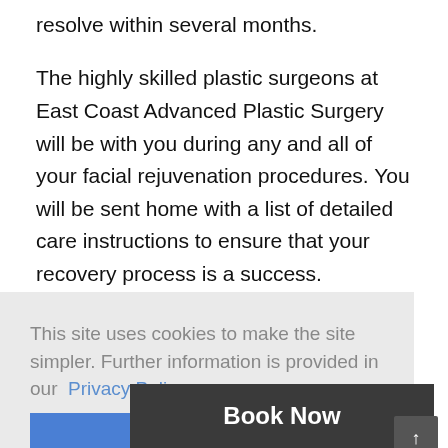resolve within several months.
The highly skilled plastic surgeons at East Coast Advanced Plastic Surgery will be with you during any and all of your facial rejuvenation procedures. You will be sent home with a list of detailed care instructions to ensure that your recovery process is a success.
This site uses cookies to make the site simpler. Further information is provided in our  Privacy Policy
Accept
Book Now
procedure pe
all price of